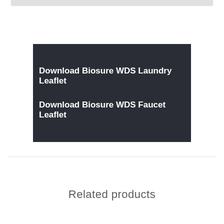Download Biosure WDS Laundry Leaflet
Download Biosure WDS Faucet Leaflet
Related products